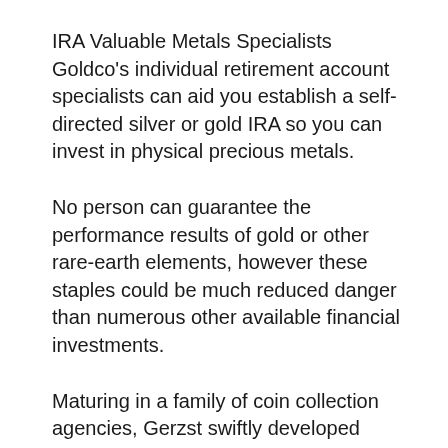IRA Valuable Metals Specialists Goldco's individual retirement account specialists can aid you establish a self-directed silver or gold IRA so you can invest in physical precious metals.
No person can guarantee the performance results of gold or other rare-earth elements, however these staples could be much reduced danger than numerous other available financial investments.
Maturing in a family of coin collection agencies, Gerzst swiftly developed significant knowledge regarding coins and rare-earth elements.
A Silver Mercedes de la Preciosa…